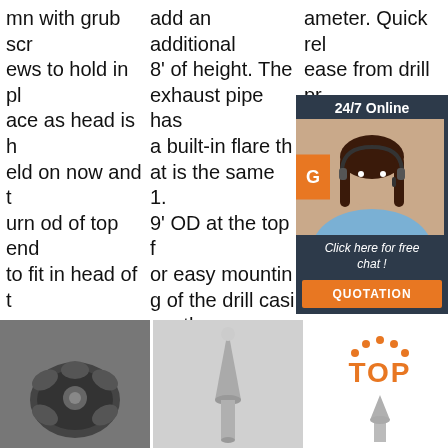mn with grub screws to hold in place as head is held on now and turn od of top end to fit in head of top.
add an additional 8' of height. The exhaust pipe has a built-in flare that is the same 1.9' OD at the top for easy mounting of the drill casing, the ...
ameter. Quick release from drill press. Tool tray holds spare drill bits and
[Figure (screenshot): Chat widget with '24/7 Online' header, woman with headset photo, 'G' orange button, 'Click here for free chat!' text, and QUOTATION orange button on dark background]
[Figure (photo): Close-up photo of a dark metallic drill bit head]
[Figure (photo): Photo of a silver conical drill bit / auger point on light background]
[Figure (logo): TOP badge logo with orange dots arc above text and a drill bit below]